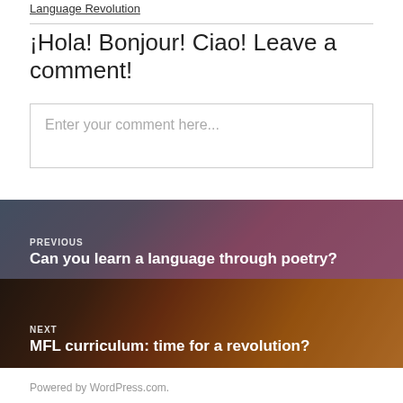Language Revolution
¡Hola! Bonjour! Ciao! Leave a comment!
Enter your comment here...
PREVIOUS
Can you learn a language through poetry?
NEXT
MFL curriculum: time for a revolution?
Powered by WordPress.com.